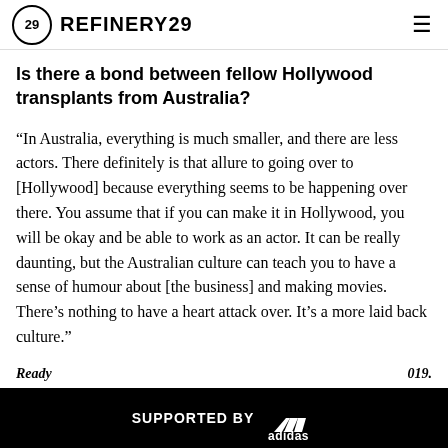REFINERY29
Is there a bond between fellow Hollywood transplants from Australia?
“In Australia, everything is much smaller, and there are less actors. There definitely is that allure to going over to [Hollywood] because everything seems to be happening over there. You assume that if you can make it in Hollywood, you will be okay and be able to work as an actor. It can be really daunting, but the Australian culture can teach you to have a sense of humour about [the business] and making movies. There’s nothing to have a heart attack over. It’s a more laid back culture.”
Ready ... 019.
[Figure (advertisement): SUPPORTED BY adidas advertisement banner with black background, adidas wordmark and three-stripe logo in white, and partial image of a person on the right side.]